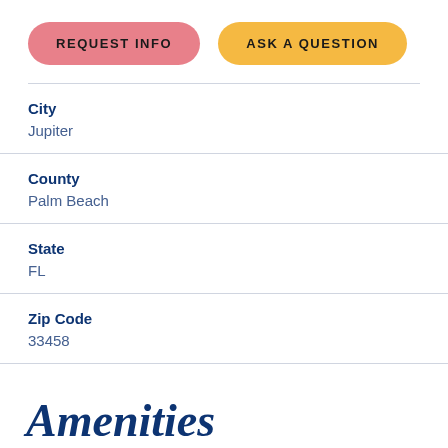REQUEST INFO
ASK A QUESTION
City
Jupiter
County
Palm Beach
State
FL
Zip Code
33458
Amenities